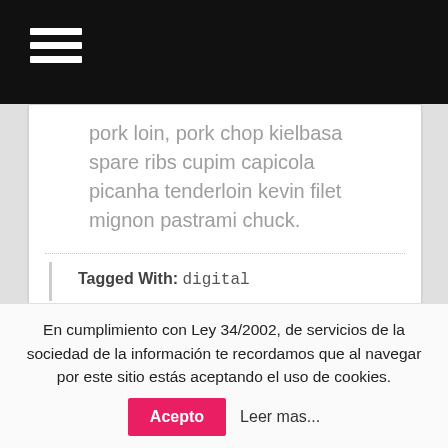Navigation menu (hamburger icon)
pork loin, pork chop kielbasa spare ribs cupim capicola picanha tenderloin kevin filet mignon pastrami chuck.
Tagged With: digital
[Figure (other): Purple horizontal bar element inside a white card]
En cumplimiento con Ley 34/2002, de servicios de la sociedad de la información te recordamos que al navegar por este sitio estás aceptando el uso de cookies. Acepto Leer mas...